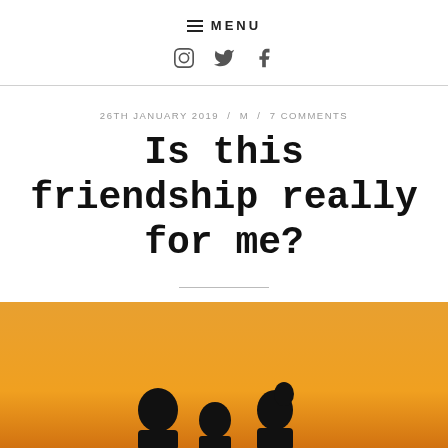≡ MENU
[Figure (infographic): Social media icons: Instagram, Twitter, Facebook]
26TH JANUARY 2019 / M / 7 COMMENTS
Is this friendship really for me?
[Figure (photo): Silhouettes of three people against an orange/golden sunset background]